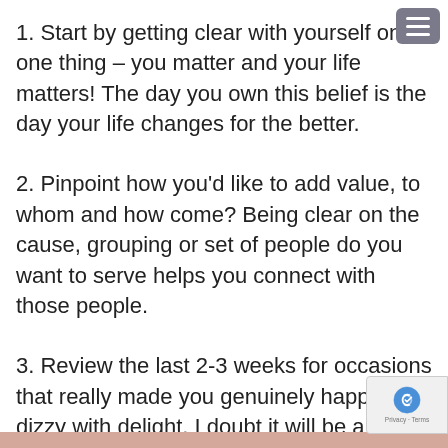1. Start by getting clear with yourself on one thing – you matter and your life matters! The day you own this belief is the day your life changes for the better.
2. Pinpoint how you'd like to add value, to whom and how come? Being clear on the cause, grouping or set of people do you want to serve helps you connect with those people.
3. Review the last 2-3 weeks for occasions that really made you genuinely happy and dizzy with delight. I doubt it will be a social media po... unless it's that funny cat video that's gone... If you're missing them – you need new goals